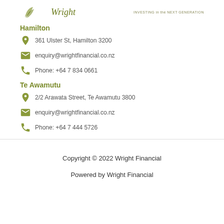[Figure (logo): Wright Financial logo with leaf/plant motif and tagline INVESTING in the NEXT GENERATION]
Hamilton
361 Ulster St, Hamilton 3200
enquiry@wrightfinancial.co.nz
Phone: +64 7 834 0661
Te Awamutu
2/2 Arawata Street, Te Awamutu 3800
enquiry@wrightfinancial.co.nz
Phone: +64 7 444 5726
Copyright © 2022 Wright Financial
Powered by Wright Financial